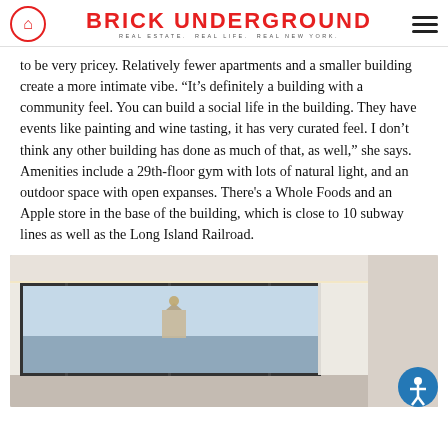BRICK UNDERGROUND — REAL ESTATE. REAL LIFE. REAL NEW YORK.
to be very pricey. Relatively fewer apartments and a smaller building create a more intimate vibe. “It’s definitely a building with a community feel. You can build a social life in the building. They have events like painting and wine tasting, it has very curated feel. I don’t think any other building has done as much of that, as well,” she says. Amenities include a 29th-floor gym with lots of natural light, and an outdoor space with open expanses. There's a Whole Foods and an Apple store in the base of the building, which is close to 10 subway lines as well as the Long Island Railroad.
[Figure (photo): Interior room photo showing large floor-to-ceiling windows with a city and water view, white curtains, and a small ornate building visible outside. An accessibility icon button is overlaid in the bottom-right corner.]